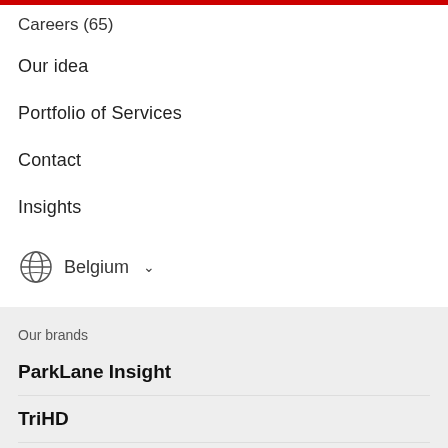Careers (65)
Our idea
Portfolio of Services
Contact
Insights
Belgium ▾
Our brands
ParkLane Insight
TriHD
TriTechnology